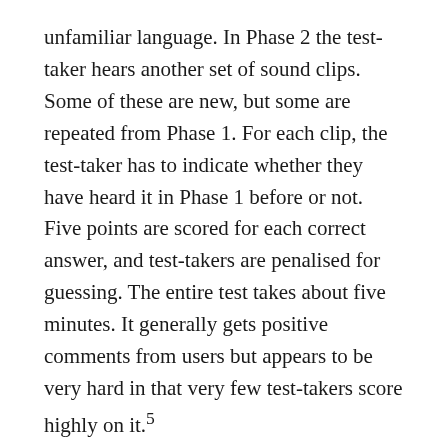unfamiliar language. In Phase 2 the test-taker hears another set of sound clips. Some of these are new, but some are repeated from Phase 1. For each clip, the test-taker has to indicate whether they have heard it in Phase 1 before or not. Five points are scored for each correct answer, and test-takers are penalised for guessing. The entire test takes about five minutes. It generally gets positive comments from users but appears to be very hard in that very few test-takers score highly on it.5
LLAMA_E is an adaptation of MLAT's sound-symbol correspondence task. The test interface consists of a series of 24 labelled buttons in a Roman alphabet, but one that uses these familiar symbols in an unfamiliar